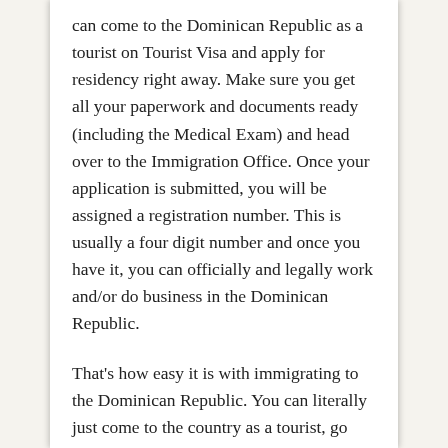can come to the Dominican Republic as a tourist on Tourist Visa and apply for residency right away. Make sure you get all your paperwork and documents ready (including the Medical Exam) and head over to the Immigration Office. Once your application is submitted, you will be assigned a registration number. This is usually a four digit number and once you have it, you can officially and legally work and/or do business in the Dominican Republic.
That's how easy it is with immigrating to the Dominican Republic. You can literally just come to the country as a tourist, go through all initial procedures, such as Medical Exam and get all other paperwork as per the above ready, bring it to the Immigration Office to submit the application and from there...